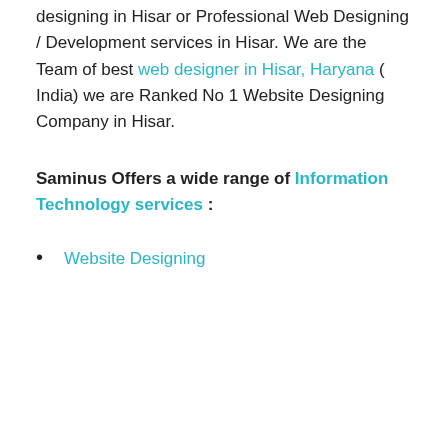designing in Hisar or Professional Web Designing / Development services in Hisar. We are the Team of best web designer in Hisar, Haryana ( India) we are Ranked No 1 Website Designing Company in Hisar.
Saminus Offers a wide range of Information Technology services :
Website Designing